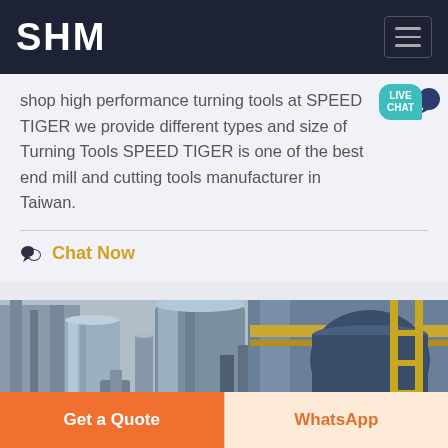SHM
shop high performance turning tools at SPEED TIGER we provide different types and size of Turning Tools SPEED TIGER is one of the best end mill and cutting tools manufacturer in Taiwan.
Chat Now
[Figure (photo): Industrial factory scene with large metal cylinders, pipes, industrial equipment and scaffolding. Photo shows heavy manufacturing or processing plant infrastructure.]
Get a Quote
WhatsApp